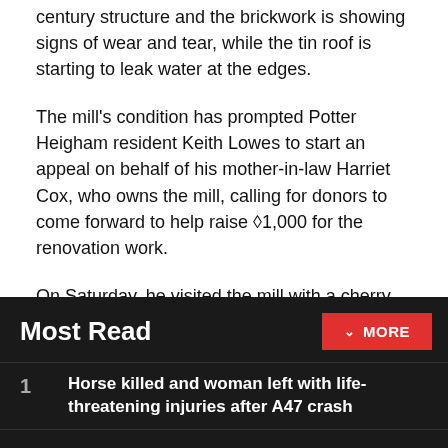century structure and the brickwork is showing signs of wear and tear, while the tin roof is starting to leak water at the edges.
The mill's condition has prompted Potter Heigham resident Keith Lowes to start an appeal on behalf of his mother-in-law Harriet Cox, who owns the mill, calling for donors to come forward to help raise ◆1,000 for the renovation work.
On Saturday, he visited the mill with a cherry picker to repair some of the red bricks near the roof, but he needs to raise more money to replace the roof.
Most Read
Horse killed and woman left with life-threatening injuries after A47 crash